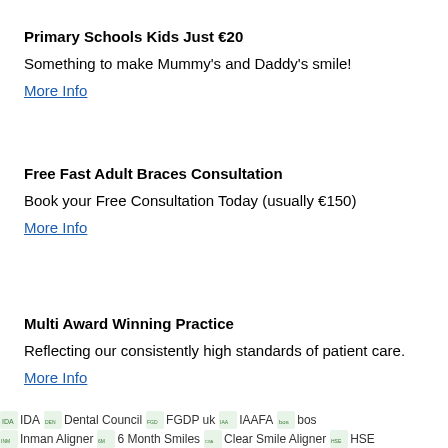Primary Schools Kids Just €20
Something to make Mummy's and Daddy's smile!
More Info
Free Fast Adult Braces Consultation
Book your Free Consultation Today (usually €150)
More Info
Multi Award Winning Practice
Reflecting our consistently high standards of patient care.
More Info
[Figure (logo): Row of accreditation logos: IDA, Dental Council, FGDP uk, IAAFA, bos, Inman Aligner, 6 Month Smiles, Clear Smile Aligner, HSE]